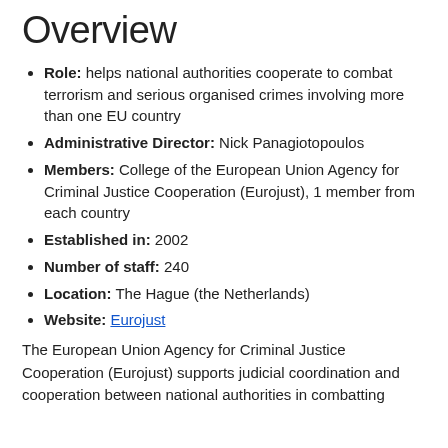Overview
Role: helps national authorities cooperate to combat terrorism and serious organised crimes involving more than one EU country
Administrative Director: Nick Panagiotopoulos
Members: College of the European Union Agency for Criminal Justice Cooperation (Eurojust), 1 member from each country
Established in: 2002
Number of staff: 240
Location: The Hague (the Netherlands)
Website: Eurojust
The European Union Agency for Criminal Justice Cooperation (Eurojust) supports judicial coordination and cooperation between national authorities in combatting